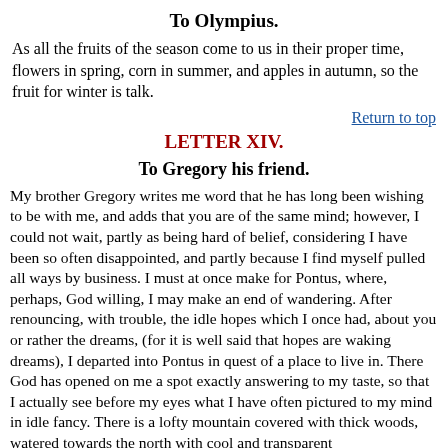To Olympius.
As all the fruits of the season come to us in their proper time, flowers in spring, corn in summer, and apples in autumn, so the fruit for winter is talk.
Return to top
LETTER XIV.
To Gregory his friend.
My brother Gregory writes me word that he has long been wishing to be with me, and adds that you are of the same mind; however, I could not wait, partly as being hard of belief, considering I have been so often disappointed, and partly because I find myself pulled all ways by business. I must at once make for Pontus, where, perhaps, God willing, I may make an end of wandering. After renouncing, with trouble, the idle hopes which I once had, about you or rather the dreams, (for it is well said that hopes are waking dreams), I departed into Pontus in quest of a place to live in. There God has opened on me a spot exactly answering to my taste, so that I actually see before my eyes what I have often pictured to my mind in idle fancy. There is a lofty mountain covered with thick woods, watered towards the north with cool and transparent